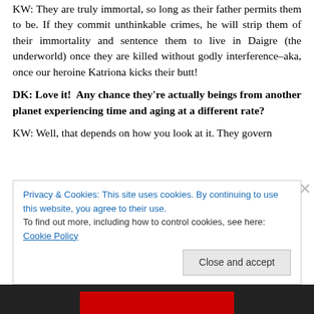KW: They are truly immortal, so long as their father permits them to be. If they commit unthinkable crimes, he will strip them of their immortality and sentence them to live in Daigre (the underworld) once they are killed without godly interference–aka, once our heroine Katriona kicks their butt!
DK: Love it! Any chance they're actually beings from another planet experiencing time and aging at a different rate?
KW: Well, that depends on how you look at it. They govern
Privacy & Cookies: This site uses cookies. By continuing to use this website, you agree to their use.
To find out more, including how to control cookies, see here: Cookie Policy